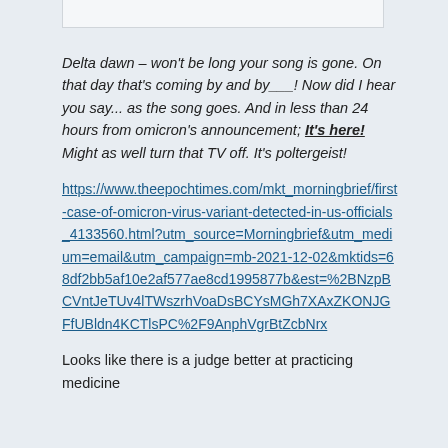Delta dawn – won't be long your song is gone. On that day that's coming by and by___! Now did I hear you say... as the song goes. And in less than 24 hours from omicron's announcement; It's here! Might as well turn that TV off. It's poltergeist!
https://www.theepochtimes.com/mkt_morningbrief/first-case-of-omicron-virus-variant-detected-in-us-officials_4133560.html?utm_source=Morningbrief&utm_medium=email&utm_campaign=mb-2021-12-02&mktids=68df2bb5af10e2af577ae8cd1995877b&est=%2BNzpBCVntJeTUv4lTWszrhVoaDsBCYsMGh7XAxZKONJGFfUBldn4KCTlsPC%2F9AnphVgrBtZcbNrx
Looks like there is a judge better at practicing medicine